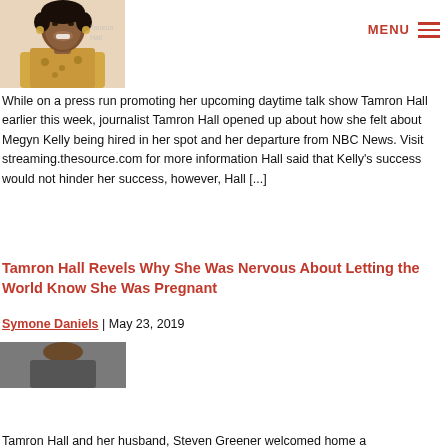[Figure (photo): Photo of Tamron Hall smiling, wearing a yellow patterned dress, short natural hair, hoop earrings, event backdrop visible]
MENU ≡
While on a press run promoting her upcoming daytime talk show Tamron Hall earlier this week, journalist Tamron Hall opened up about how she felt about Megyn Kelly being hired in her spot and her departure from NBC News. Visit streaming.thesource.com for more information Hall said that Kelly's success would not hinder her success, however, Hall [...]
Tamron Hall Revels Why She Was Nervous About Letting the World Know She Was Pregnant
Symone Daniels | May 23, 2019
[Figure (photo): Partial photo of Tamron Hall visible at bottom left]
Tamron Hall and her husband, Steven Greener welcomed home a